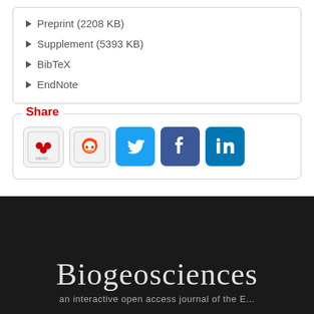Preprint (2208 KB)
Supplement (5393 KB)
BibTeX
EndNote
Share
[Figure (infographic): Social share buttons: Mendeley, Reddit, Twitter, Facebook, LinkedIn]
Biogeosciences
an interactive open access journal of the E...